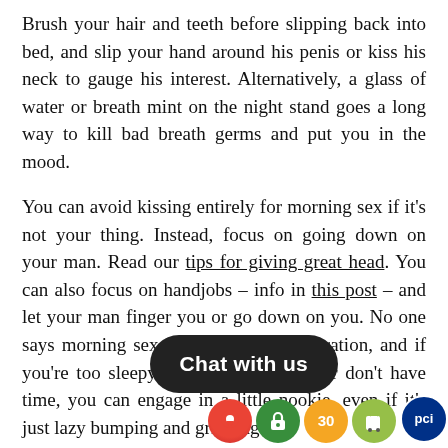Brush your hair and teeth before slipping back into bed, and slip your hand around his penis or kiss his neck to gauge his interest. Alternatively, a glass of water or breath mint on the night stand goes a long way to kill bad breath germs and put you in the mood.
You can avoid kissing entirely for morning sex if it's not your thing. Instead, focus on going down on your man. Read our tips for giving great head. You can also focus on handjobs – info in this post – and let your man finger you or go down on you. No one says morning sex has to include penetration, and if you're too sleepy to put in the effort or don't have time, you can engage in a little nookie, even if it's just lazy bumping and grinding!
Consider making time for morning sex. After all, it's a workout, so you can skip your trip t... is once. Since you probably plan to sh... clothes and do your makeup ...
[Figure (other): Overlay UI elements: dark rounded 'Chat with us' bubble and a row of app icons (Google Maps, green lock, '30' orange circle, Shopify bag, PCI blue circle)]